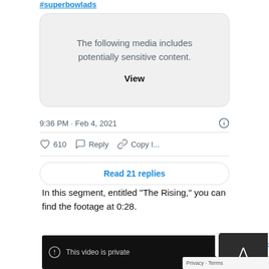#superbowlads
[Figure (screenshot): Tweet media card showing sensitive content warning with 'The following media includes potentially sensitive content.' and a 'View' button]
9:36 PM · Feb 4, 2021
610  Reply  Copy l...
Read 21 replies
In this segment, entitled “The Rising,” you can find the footage at 0:28.
[Figure (screenshot): Video thumbnail showing 'This video is private' message on dark background]